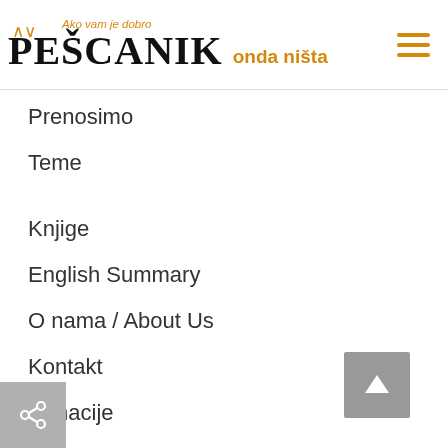PEŠCANIK — Ako vam je dobro onda ništa
Prenosimo
Teme
Knjige
English Summary
O nama / About Us
Kontakt
Donacije